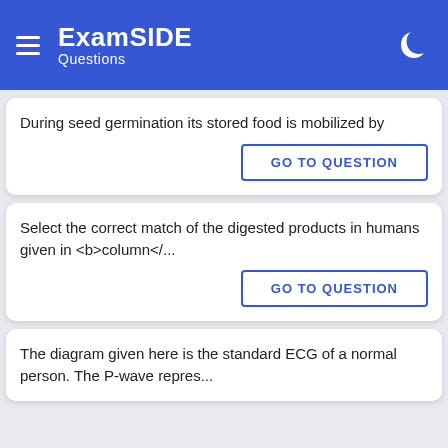ExamSIDE Questions
During seed germination its stored food is mobilized by
GO TO QUESTION
Select the correct match of the digested products in humans given in <b>column</...
GO TO QUESTION
The diagram given here is the standard ECG of a normal person. The P-wave repres...